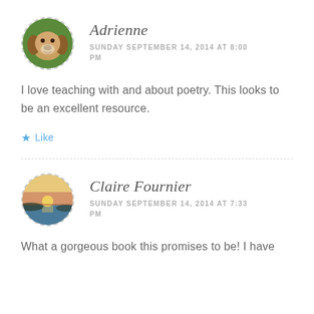[Figure (photo): Circular avatar of a basset hound dog on green background, with dashed circular border]
Adrienne
SUNDAY SEPTEMBER 14, 2014 AT 8:00 PM
I love teaching with and about poetry. This looks to be an excellent resource.
Like
[Figure (photo): Circular avatar of a sunset over water landscape, with dashed circular border]
Claire Fournier
SUNDAY SEPTEMBER 14, 2014 AT 7:33 PM
What a gorgeous book this promises to be! I have